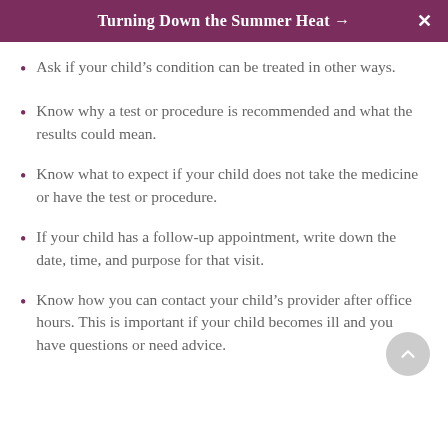Turning Down the Summer Heat →
Ask if your child's condition can be treated in other ways.
Know why a test or procedure is recommended and what the results could mean.
Know what to expect if your child does not take the medicine or have the test or procedure.
If your child has a follow-up appointment, write down the date, time, and purpose for that visit.
Know how you can contact your child's provider after office hours. This is important if your child becomes ill and you have questions or need advice.